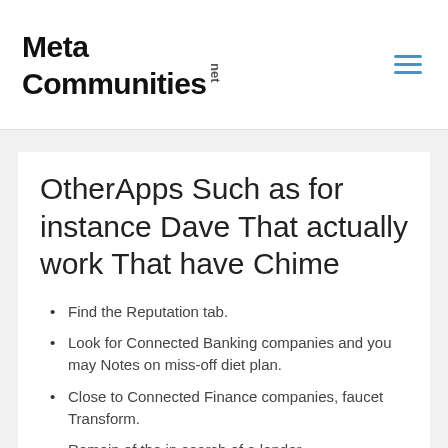MetaCommunities.net
OtherApps Such as for instance Dave That actually work That have Chime
Find the Reputation tab.
Look for Connected Banking companies and you may Notes on miss-off diet plan.
Close to Connected Finance companies, faucet Transform.
Remain of the in search of a lender.
dos. Albert